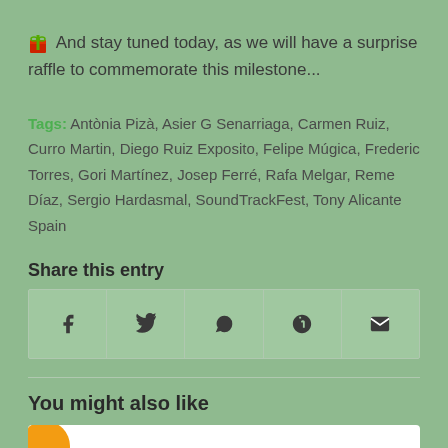🎁 And stay tuned today, as we will have a surprise raffle to commemorate this milestone...
Tags: Antònia Pizà, Asier G Senarriaga, Carmen Ruiz, Curro Martin, Diego Ruiz Exposito, Felipe Múgica, Frederic Torres, Gori Martínez, Josep Ferré, Rafa Melgar, Reme Díaz, Sergio Hardasmal, SoundTrackFest, Tony Alicante Spain
Share this entry
[Figure (infographic): Social sharing icons row: Facebook (f), Twitter (bird), WhatsApp, Pinterest (p), Email (envelope)]
You might also like